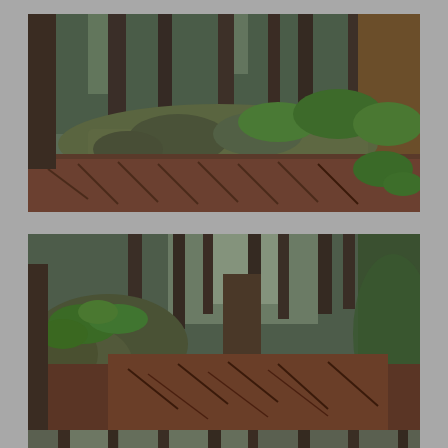[Figure (photo): Forest scene showing mossy rocks, ferns and large tree trunks on a sloped hillside. Dense conifer forest in background. Green foliage and brown fallen needles on ground.]
[Figure (photo): Forest scene showing mossy boulders with small green plants growing on them, large tree trunks, brown dried ferns covering the slope, and mixed forest in background.]
[Figure (photo): Partial view of forest floor and tree trunks, partially cropped at bottom of page.]